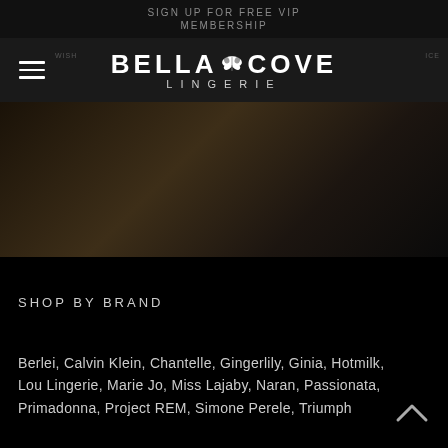SIGN UP FOR FREE VIP MEMBERSHIP
[Figure (logo): Bella Cove Lingerie logo with butterfly graphic, white text on dark background]
[Figure (photo): Dark moody photo of lingerie/fabric, dark brown and black tones]
SHOP BY BRAND
Berlei, Calvin Klein, Chantelle, Gingerlily, Ginia, Hotmilk, Lou Lingerie, Marie Jo, Miss Lajaby, Naran, Passionata, Primadonna, Project REM, Simone Perele, Triumph